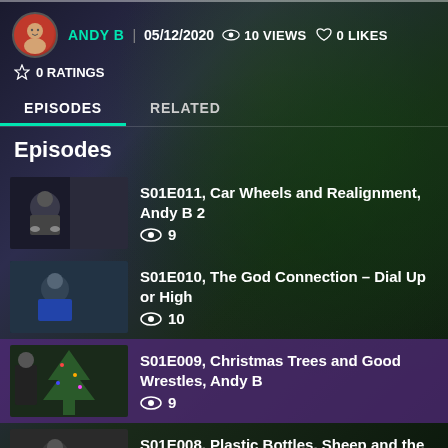ANDY B | 05/12/2020   10 VIEWS   0 LIKES
0 RATINGS
EPISODES   RELATED
Episodes
S01E011, Car Wheels and Realignment, Andy B 2
9 views
S01E010, The God Connection – Dial Up or High
10 views
S01E009, Christmas Trees and Good Wrestles, Andy B
9 views
S01E008, Plastic Bottles, Sheep and the Holy Spirit,
7 views